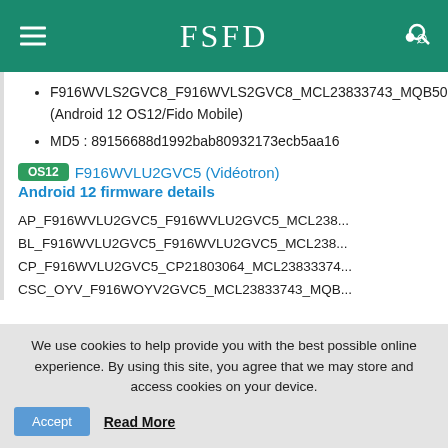FSFD
F916WVLS2GVC8_F916WVLS2GVC8_MCL23833743_MQB50544198_REV00_user_low_ship_MULTI_CERT_meta_OS12.zip (Android 12 OS12/Fido Mobile)
MD5 : 89156688d1992bab80932173ecb5aa16
OS12  F916WVLU2GVC5 (Vidéotron)
Android 12 firmware details
AP_F916WVLU2GVC5_F916WVLU2GVC5_MCL238...
BL_F916WVLU2GVC5_F916WVLU2GVC5_MCL238...
CP_F916WVLU2GVC5_CP21803064_MCL23833744...
CSC_OYV_F916WOYV2GVC5_MCL23833743_MQB...
HOME_CSC_OYV_F916WOYV2GVC5_MCL2383374
We use cookies to help provide you with the best possible online experience. By using this site, you agree that we may store and access cookies on your device.